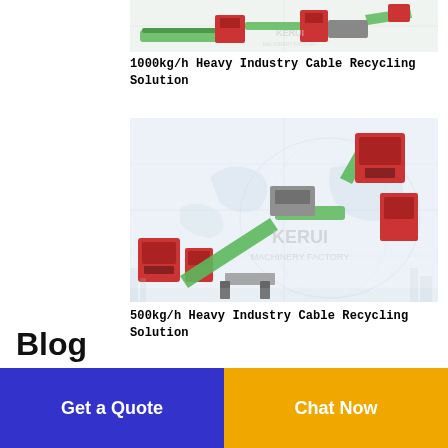[Figure (illustration): 3D rendering of 1000kg/h Heavy Industry Cable Recycling Solution machinery with conveyor belts and red/green components, KERUI MACHINERY FACTORY watermark]
1000kg/h Heavy Industry Cable Recycling Solution
[Figure (illustration): 3D rendering of 500kg/h Heavy Industry Cable Recycling Solution machinery with conveyor belts, red and green components on world map background, KERUI MACHINERY FACTORY watermark]
500kg/h Heavy Industry Cable Recycling Solution
Blog
Get a Quote
Chat Now